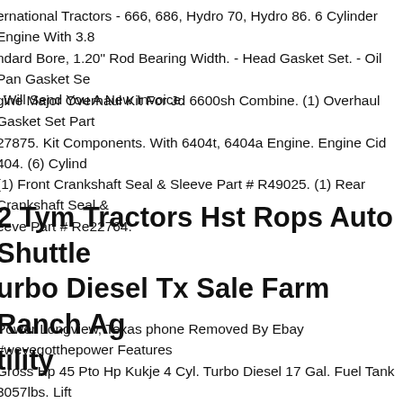ernational Tractors - 666, 686, Hydro 70, Hydro 86. 6 Cylinder Engine With 3.8 ndard Bore, 1.20" Rod Bearing Width. - Head Gasket Set. - Oil Pan Gasket Se i Will Send You A New Invoice.
gine Major Overhaul Kit For Jd 6600sh Combine. (1) Overhaul Gasket Set Part 27875. Kit Components. With 6404t, 6404a Engine. Engine Cid 404. (6) Cylind (1) Front Crankshaft Seal & Sleeve Part # R49025. (1) Rear Crankshaft Seal & eeve Part # Re22764.
2 Tym Tractors Hst Rops Auto Shuttle urbo Diesel Tx Sale Farm Ranch Ag tility
Power Longview, Texas phone Removed By Ebay #wevegotthepower Features Gross Hp 45 Pto Hp Kukje 4 Cyl. Turbo Diesel 17 Gal. Fuel Tank 3057lbs. Lift o. Hst Power Steering Wet Disc Brakes 8 Front 8 Rear Shuttle Shift Independe t. Auto Pto 540 Rpm Loader Features - Tx57 Loader Qc 72" Bucket & Grill